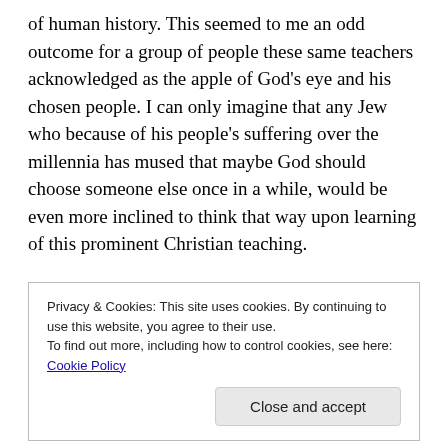of human history. This seemed to me an odd outcome for a group of people these same teachers acknowledged as the apple of God's eye and his chosen people. I can only imagine that any Jew who because of his people's suffering over the millennia has mused that maybe God should choose someone else once in a while, would be even more inclined to think that way upon learning of this prominent Christian teaching.

This view of redemptive history never inspired me to go and make disciples of all nations. If anything, it inspired me to buy “fire insurance” to keep me out of hell, root
Privacy & Cookies: This site uses cookies. By continuing to use this website, you agree to their use.
To find out more, including how to control cookies, see here: Cookie Policy
Close and accept
any meaningful doctrine of suffering which is a chief